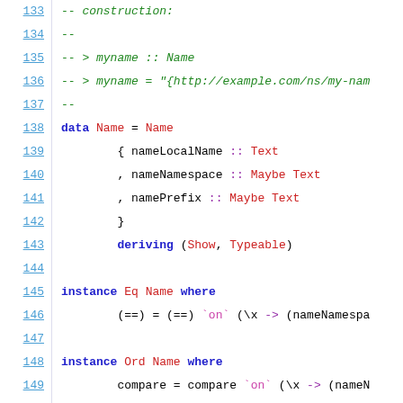133  -- construction:
134  --
135  -- > myname :: Name
136  -- > myname = "{http://example.com/ns/my-nam
137  --
138  data Name = Name
139       { nameLocalName :: Text
140       , nameNamespace :: Maybe Text
141       , namePrefix :: Maybe Text
142       }
143       deriving (Show, Typeable)
144
145  instance Eq Name where
146       (==) = (==) `on` (\x -> (nameNamespa
147
148  instance Ord Name where
149       compare = compare `on` (\x -> (nameN
150
151  instance IsString Name where
152       fromString "" = Name T.empty Nothing
153       fromString full@('{':rest) = case br
154           ( , "") -> error ("Invalid C